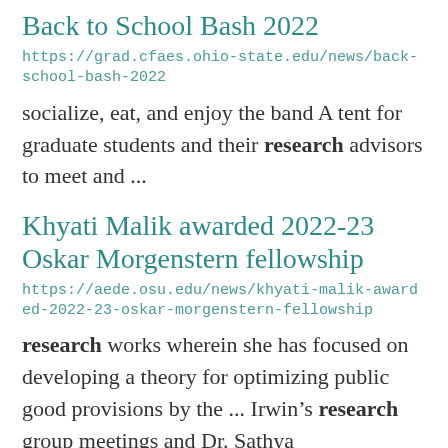Back to School Bash 2022
https://grad.cfaes.ohio-state.edu/news/back-school-bash-2022
socialize, eat, and enjoy the band A tent for graduate students and their research advisors to meet and ...
Khyati Malik awarded 2022-23 Oskar Morgenstern fellowship
https://aede.osu.edu/news/khyati-malik-awarded-2022-23-oskar-morgenstern-fellowship
research works wherein she has focused on developing a theory for optimizing public good provisions by the ... Irwin’s research group meetings and Dr. Sathya Ganakrishnan’s Applied Welfare